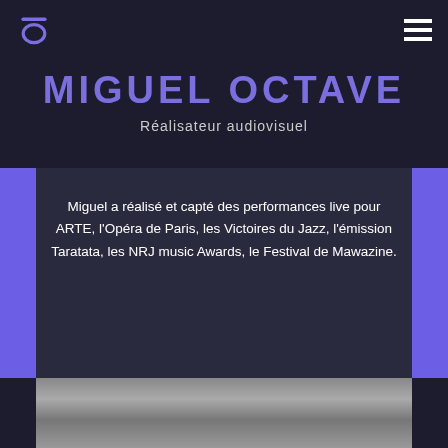MIGUEL OCTAVE
Réalisateur audiovisuel
Miguel a réalisé et capté des performances live pour ARTE, l'Opéra de Paris, les Victoires du Jazz, l'émission Taratata, les NRJ music Awards, le Festival de Mawazine.
[Figure (photo): Black and white portrait photo of a person, cropped at bottom of page]